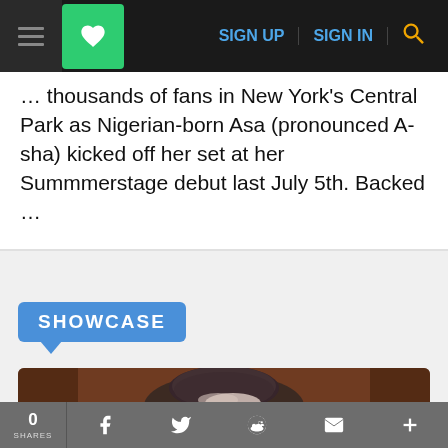Navigation bar with hamburger menu, heart/save button, SIGN UP, SIGN IN links, and search icon
... thousands of fans in New York's Central Park as Nigerian-born Asa (pronounced A-sha) kicked off her set at her Summmerstage debut last July 5th. Backed ...
SHOWCASE
[Figure (photo): A person wearing a dark beanie/hat, photographed from above, with white powder or snow visible, against a blurred warm brown background]
0 SHARES | Facebook | Twitter | Reddit | Email | +